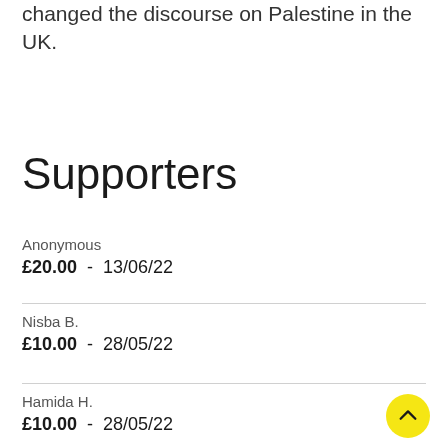changed the discourse on Palestine in the UK.
Supporters
Anonymous
£20.00 - 13/06/22
Nisba B.
£10.00 - 28/05/22
Hamida H.
£10.00 - 28/05/22